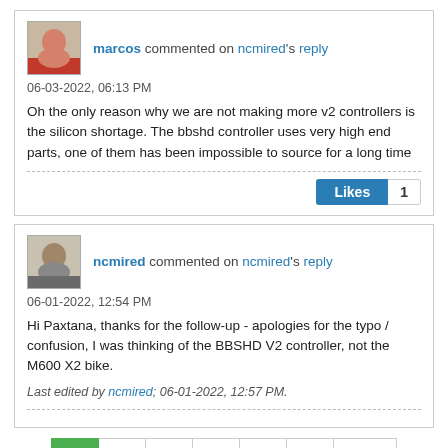marcos commented on ncmired's reply
06-03-2022, 06:13 PM
Oh the only reason why we are not making more v2 controllers is the silicon shortage. The bbshd controller uses very high end parts, one of them has been impossible to source for a long time
Likes 1
ncmired commented on ncmired's reply
06-01-2022, 12:54 PM
Hi Paxtana, thanks for the follow-up - apologies for the typo / confusion, I was thinking of the BBSHD V2 controller, not the M600 X2 bike.
Last edited by ncmired; 06-01-2022, 12:57 PM.
1
2
3
4
11
34
Next